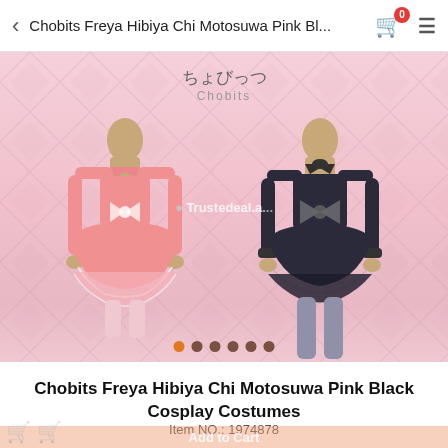Chobits Freya Hibiya Chi Motosuwa Pink Bl...
[Figure (photo): Two mannequins displaying Chobits cosplay costumes: left mannequin wears a pink frilly lolita dress with bow and long pink sleeves; right mannequin wears a dark navy/black maid-style dress with grey leggings. Pink argyle-patterned background with Chobits logo at top. Trustedeal watermark in center.]
Chobits Freya Hibiya Chi Motosuwa Pink Black Cosplay Costumes
Item NO.: 1974878